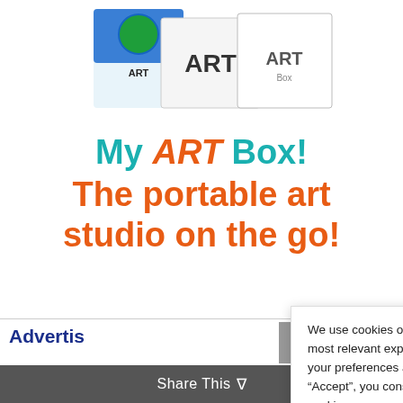[Figure (photo): Product image showing My ART Box cards/materials on a white background at the top of the page]
My ART Box! The portable art studio on the go!
Advertis
FREE A
[Figure (photo): Colorful artwork photo in red, yellow, and green on the bottom left]
We use cookies on our website to give you the most relevant experience by remembering your preferences and repeat visits. By clicking “Accept”, you consent to the use of ALL the cookies.

Do not sell my personal information.
Cookie Settings   Accept
Share This